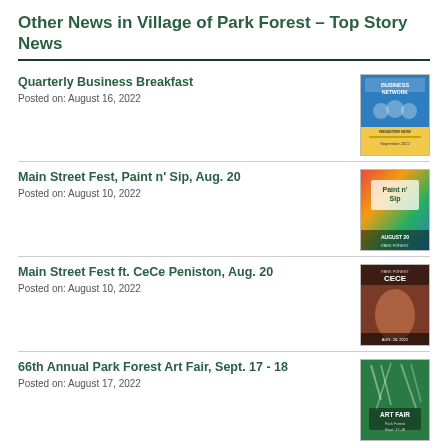Other News in Village of Park Forest – Top Story News
Quarterly Business Breakfast
Posted on: August 16, 2022
[Figure (photo): Business Network event flyer thumbnail]
Main Street Fest, Paint n' Sip, Aug. 20
Posted on: August 10, 2022
[Figure (photo): Paint n Sip event flyer thumbnail]
Main Street Fest ft. CeCe Peniston, Aug. 20
Posted on: August 10, 2022
[Figure (photo): CeCe Peniston event flyer thumbnail]
66th Annual Park Forest Art Fair, Sept. 17 - 18
Posted on: August 17, 2022
[Figure (photo): Art Fair event flyer thumbnail]